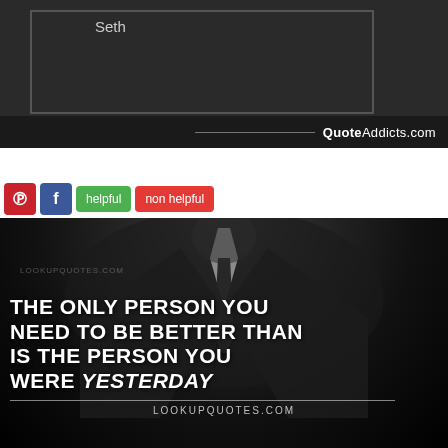[Figure (photo): Dark background quote card showing 'Seth' text with QuoteAddicts.com branding at bottom]
[Figure (photo): Motivational quote image showing a person in a dark suit with text: THE ONLY PERSON YOU NEED TO BE BETTER THAN IS THE PERSON YOU WERE YESTERDAY. LOOKUPQUOTES.COM. Social buttons: Pinterest, Facebook, helpful, non helpful.]